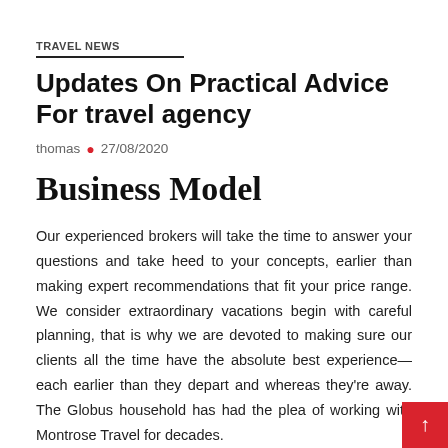TRAVEL NEWS
Updates On Practical Advice For travel agency
thomas • 27/08/2020
Business Model
Our experienced brokers will take the time to answer your questions and take heed to your concepts, earlier than making expert recommendations that fit your price range. We consider extraordinary vacations begin with careful planning, that is why we are devoted to making sure our clients all the time have the absolute best experience—each earlier than they depart and whereas they're away. The Globus household has had the pleasure of working with Montrose Travel for decades.